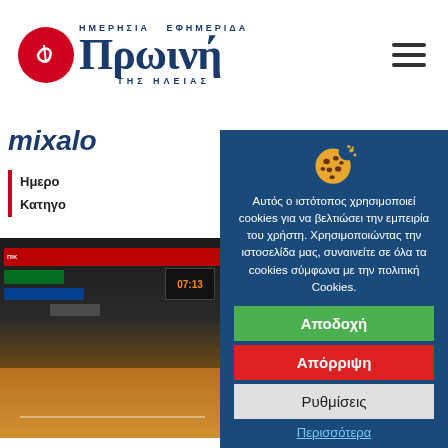Ημερήσια Εφημερίδα Πρωινή της Ηλείας
mixalo
Ημερο...
Κατηγο...
[Figure (photo): Basketball court interior with advertising banners]
[Figure (illustration): Cookie consent popup with a cookie icon on blue background]
Αυτός ο ιστότοπος χρησιμοποιεί cookies για να βελτιώσει την εμπειρία του χρήστη. Χρησιμοποιώντας την ιστοσελίδα μας, συναινείτε σε όλα τα cookies σύμφωνα με την πολιτική Cookies.
Αποδοχή
Απόρριψη
Ρυθμίσεις
Περισσότερα